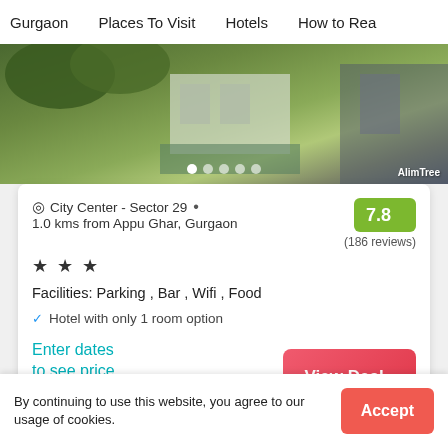Gurgaon   Places To Visit   Hotels   How to Rea
[Figure (photo): Aerial view of a building with green trees and rooftop, partial view of swimming pool area]
City Center - Sector 29  •  1.0 kms from Appu Ghar, Gurgaon  ★★★  Facilities: Parking , Bar , Wifi , Food  ✓ Hotel with only 1 room option
7.8
(186 reviews)
Enter dates to see price
Booking.com
View Deal ›
By continuing to use this website, you agree to our usage of cookies.
Accept